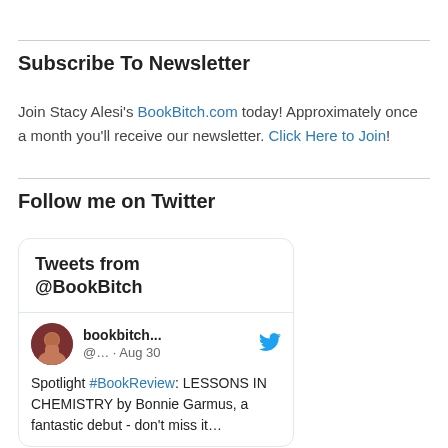Subscribe To Newsletter
Join Stacy Alesi's BookBitch.com today! Approximately once a month you'll receive our newsletter. Click Here to Join!
Follow me on Twitter
[Figure (screenshot): Twitter widget showing Tweets from @BookBitch. A tweet by bookbitch... (@... · Aug 30) reads: Spotlight #BookReview: LESSONS IN CHEMISTRY by Bonnie Garmus, a fantastic debut - don't miss it...]